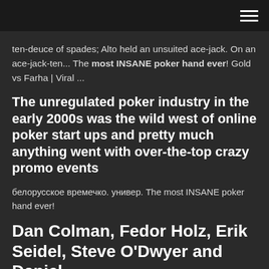≡
ten-deuce of spades; Alto held an unsuited ace-jack. On an ace-jack-ten... The most INSANE poker hand ever! Gold vs Farha | Viral ...
The unregulated poker industry in the early 2000s was the wild west of online poker start ups and pretty much anything went with over-the-top crazy promo events
белорусское времечко. универ. The most INSANE poker hand ever!
Dan Colman, Fedor Holz, Erik Seidel, Steve O'Dwyer and Daniel